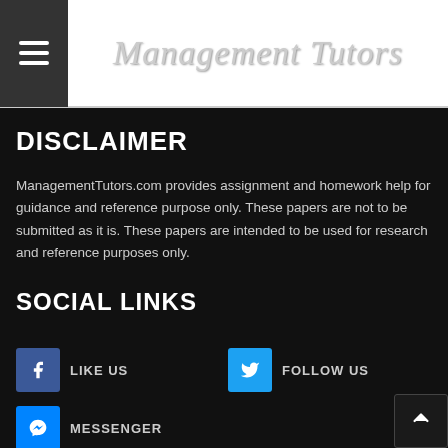Management Tutors
DISCLAIMER
ManagementTutors.com provides assignment and homework help for guidance and reference purpose only. These papers are not to be submitted as it is. These papers are intended to be used for research and reference purposes only.
SOCIAL LINKS
LIKE US
FOLLOW US
MESSENGER